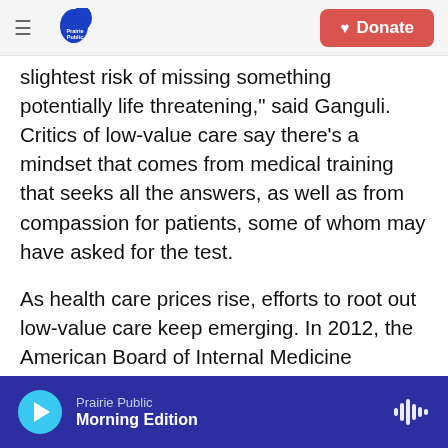Prairie Public | Donate
slightest risk of missing something potentially life threatening," said Ganguli. Critics of low-value care say there's a mindset that comes from medical training that seeks all the answers, as well as from compassion for patients, some of whom may have asked for the test.
As health care prices rise, efforts to root out low-value care keep emerging. In 2012, the American Board of Internal Medicine Foundation began urging doctors to reduce low-value care through a communication campaign called Choosing Wisely.
Prairie Public — Morning Edition